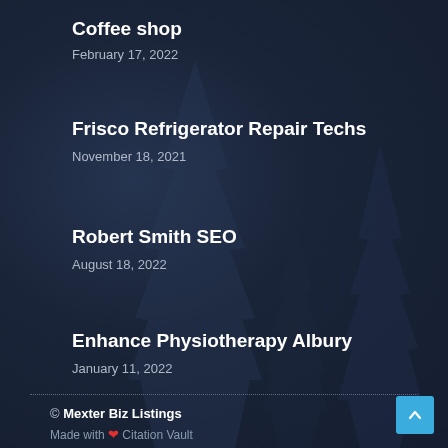Coffee shop
February 17, 2022
Frisco Refrigerator Repair Techs
November 18, 2021
Robert Smith SEO
August 18, 2022
Enhance Physiotherapy Albury
January 11, 2022
© Mexter Biz Listings
Made with ❤ Citation Vault